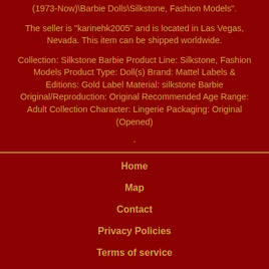(1973-Now)\Barbie Dolls\Silkstone, Fashion Models".
The seller is "karinehk2005" and is located in Las Vegas, Nevada. This item can be shipped worldwide.
Collection: Silkstone Barbie Product Line: Silkstone, Fashion Models Product Type: Doll(s) Brand: Mattel Labels & Editions: Gold Label Material: silkstone Barbie Original/Reproduction: Original Recommended Age Range: Adult Collection Character: Lingerie Packaging: Original (Opened)
.
Home
Map
Contact
Privacy Policies
Terms of service